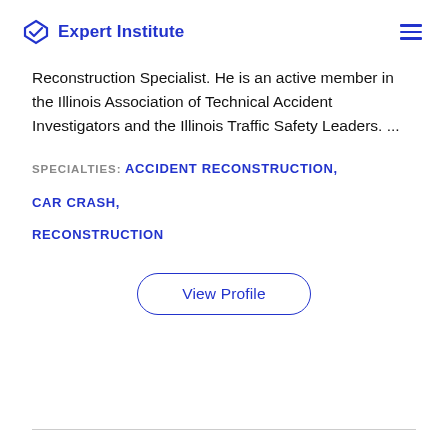Expert Institute
Reconstruction Specialist. He is an active member in the Illinois Association of Technical Accident Investigators and the Illinois Traffic Safety Leaders. ...
SPECIALTIES: ACCIDENT RECONSTRUCTION, CAR CRASH, RECONSTRUCTION
View Profile